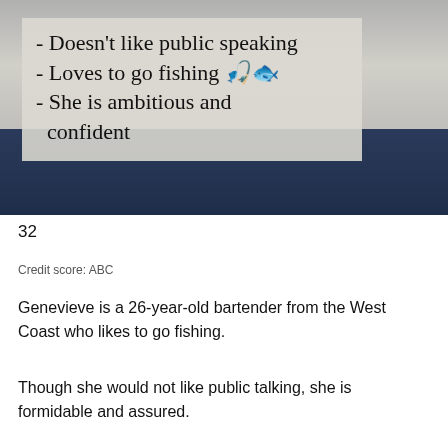[Figure (photo): Photo of a woman from the torso down wearing dark jeans, with an overlay text box showing bullet points about her personality traits. Overlay reads: - Doesn't like public speaking / - Loves to go fishing (with fishing emoji) / - She is ambitious and confident]
32
Credit score: ABC
Genevieve is a 26-year-old bartender from the West Coast who likes to go fishing.
Though she would not like public talking, she is formidable and assured.